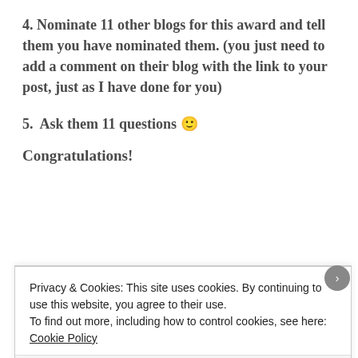4. Nominate 11 other blogs for this award and tell them you have nominated them. (you just need to add a comment on their blog with the link to your post, just as I have done for you)
5.  Ask them 11 questions 🙂
Congratulations!
[Figure (illustration): A yellow outlined star with 'B.' text and a small red heart inside, serving as a blog award badge]
Privacy & Cookies: This site uses cookies. By continuing to use this website, you agree to their use.
To find out more, including how to control cookies, see here: Cookie Policy
Close and accept